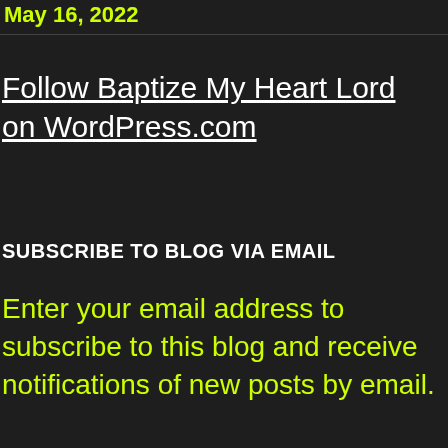May 16, 2022
Follow Baptize My Heart Lord on WordPress.com
SUBSCRIBE TO BLOG VIA EMAIL
Enter your email address to subscribe to this blog and receive notifications of new posts by email.